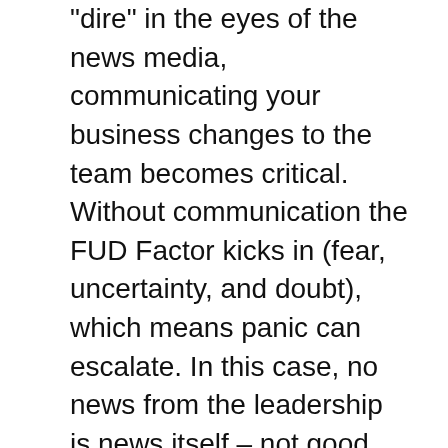“aire” in the eyes of the news media, communicating your business changes to the team becomes critical. Without communication the FUD Factor kicks in (fear, uncertainty, and doubt), which means panic can escalate. In this case, no news from the leadership is news itself – not good news either.
You had better keep selling, and you better keep marketing. People will still buy product and services. There will be taxes due, and restaurants open, and travel happening. Those who market and sell better than their